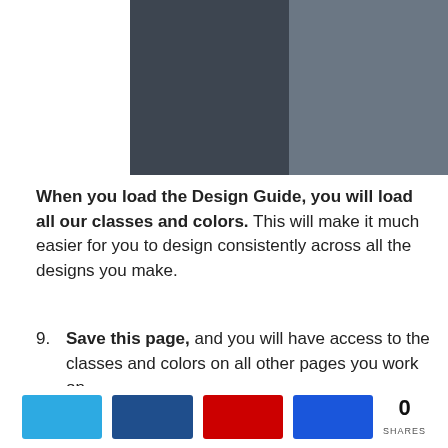[Figure (illustration): Two-tone dark gray color swatches panel, left darker (#3d4550) and right lighter (#6b7784)]
When you load the Design Guide, you will load all our classes and colors. This will make it much easier for you to design consistently across all the designs you make.
9. Save this page, and you will have access to the classes and colors on all other pages you work on.
Protip: You can find oxyelements preset classes by going to Manage > Selectors > oxyelements. Here you can see many different classes that you can use in
[Figure (infographic): Social share bar with four colored buttons (blue, dark blue, red, royal blue) and a share count of 0]